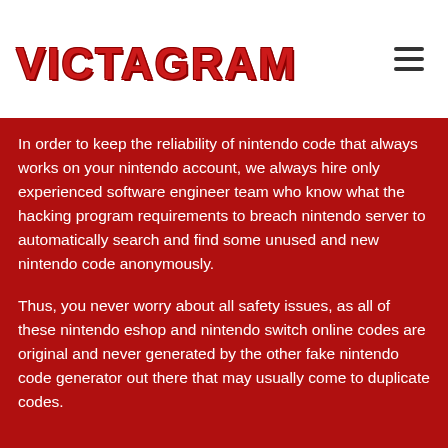VICTAGRAM
In order to keep the reliability of nintendo code that always works on your nintendo account, we always hire only experienced software engineer team who know what the hacking program requirements to breach nintendo server to automatically search and find some unused and new nintendo code anonymously.
Thus, you never worry about all safety issues, as all of these nintendo eshop and nintendo switch online codes are original and never generated by the other fake nintendo code generator out there that may usually come to duplicate codes.